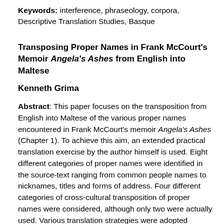Keywords: interference, phraseology, corpora, Descriptive Translation Studies, Basque
Transposing Proper Names in Frank McCourt's Memoir Angela's Ashes from English into Maltese
Kenneth Grima
Abstract: This paper focuses on the transposition from English into Maltese of the various proper names encountered in Frank McCourt's memoir Angela's Ashes (Chapter 1). To achieve this aim, an extended practical translation exercise by the author himself is used. Eight different categories of proper names were identified in the source-text ranging from common people names to nicknames, titles and forms of address. Four different categories of cross-cultural transposition of proper names were considered, although only two were actually used. Various translation strategies were adopted ranging from non-translation to modification, loan-dissemination, the three-tional...